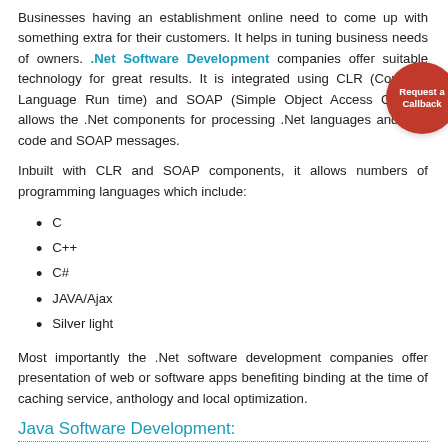Businesses having an establishment online need to come up with something extra for their customers. It helps in tuning business needs of owners. .Net Software Development companies offer suitable technology for great results. It is integrated using CLR (Common Language Run time) and SOAP (Simple Object Access Control) allows the .Net components for processing .Net languages and .Net code and SOAP messages.
Inbuilt with CLR and SOAP components, it allows numbers of programming languages which include:
C
C++
C#
JAVA/Ajax
Silver light
Most importantly the .Net software development companies offer presentation of web or software apps benefiting binding at the time of caching service, anthology and local optimization.
Java Software Development: